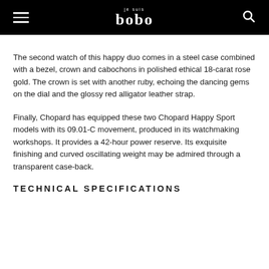je suis bobo
The second watch of this happy duo comes in a steel case combined with a bezel, crown and cabochons in polished ethical 18-carat rose gold. The crown is set with another ruby, echoing the dancing gems on the dial and the glossy red alligator leather strap.
Finally, Chopard has equipped these two Chopard Happy Sport models with its 09.01-C movement, produced in its watchmaking workshops. It provides a 42-hour power reserve. Its exquisite finishing and curved oscillating weight may be admired through a transparent case-back.
TECHNICAL SPECIFICATIONS